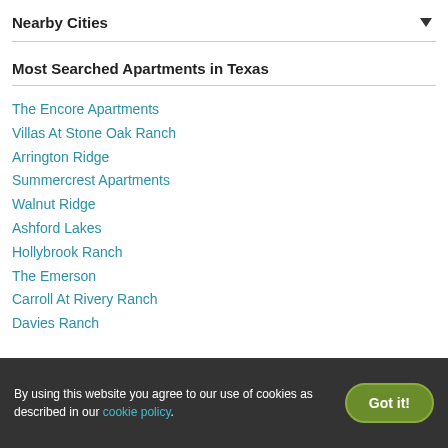Nearby Cities
Most Searched Apartments in Texas
The Encore Apartments
Villas At Stone Oak Ranch
Arrington Ridge
Summercrest Apartments
Walnut Ridge
Ashford Lakes
Hollybrook Ranch
The Emerson
Carroll At Rivery Ranch
Davies Ranch
By using this website you agree to our use of cookies as described in our cookie policy.